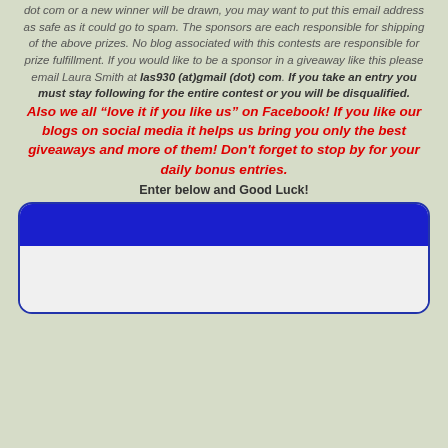dot com or a new winner will be drawn, you may want to put this email address as safe as it could go to spam. The sponsors are each responsible for shipping of the above prizes. No blog associated with this contests are responsible for prize fulfillment. If you would like to be a sponsor in a giveaway like this please email Laura Smith at las930 (at)gmail (dot) com. If you take an entry you must stay following for the entire contest or you will be disqualified.
Also we all “love it if you like us” on Facebook! If you like our blogs on social media it helps us bring you only the best giveaways and more of them! Don't forget to stop by for your daily bonus entries.
Enter below and Good Luck!
[Figure (other): A rounded widget box with a dark blue header bar and a light gray content area below, representing an entry form widget.]